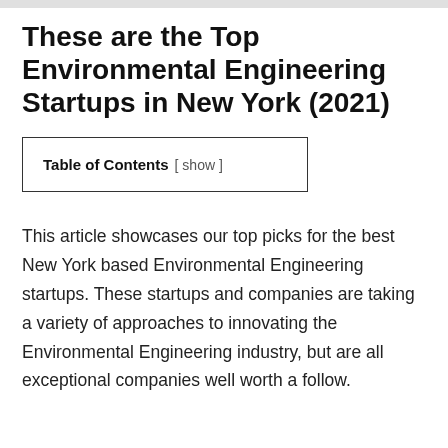These are the Top Environmental Engineering Startups in New York (2021)
| Table of Contents |
| --- |
| [ show ] |
This article showcases our top picks for the best New York based Environmental Engineering startups. These startups and companies are taking a variety of approaches to innovating the Environmental Engineering industry, but are all exceptional companies well worth a follow.